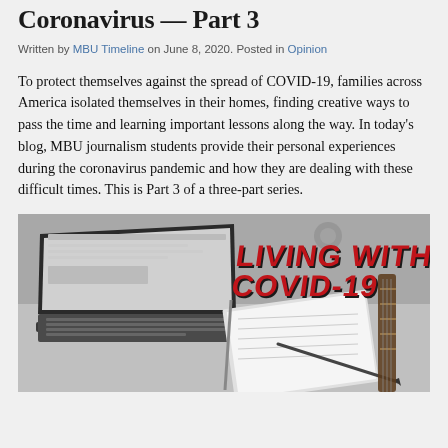Coronavirus — Part 3
Written by MBU Timeline on June 8, 2020. Posted in Opinion
To protect themselves against the spread of COVID-19, families across America isolated themselves in their homes, finding creative ways to pass the time and learning important lessons along the way. In today's blog, MBU journalism students provide their personal experiences during the coronavirus pandemic and how they are dealing with these difficult times. This is Part 3 of a three-part series.
[Figure (photo): Grayscale photo of a laptop, notebook, pen and guitar neck on a desk, overlaid with the text 'LIVING WITH COVID-19' in bold red letters with black outline]